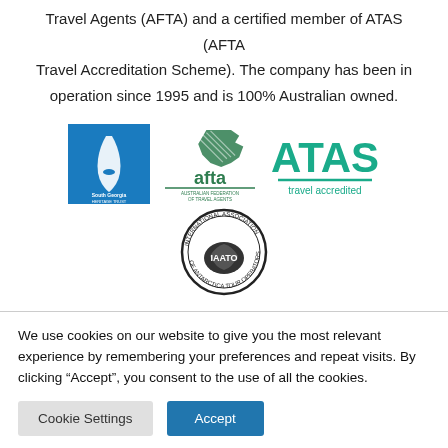Travel Agents (AFTA) and a certified member of ATAS (AFTA Travel Accreditation Scheme). The company has been in operation since 1995 and is 100% Australian owned.
[Figure (logo): South Georgia Heritage Trust logo - blue square with stylized bird silhouette]
[Figure (logo): AFTA - Australian Federation of Travel Agents logo with Australia map graphic]
[Figure (logo): ATAS travel accredited logo in teal/green]
[Figure (logo): IAATO - International Association of Antarctica Tour Operators circular seal logo]
We use cookies on our website to give you the most relevant experience by remembering your preferences and repeat visits. By clicking “Accept”, you consent to the use of all the cookies.